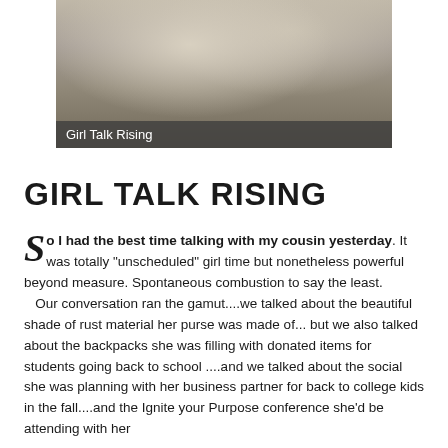[Figure (photo): Black and white photo of two young girls/children, with a dark overlay bar at the bottom showing the caption 'Girl Talk Rising']
GIRL TALK RISING
So I had the best time talking with my cousin yesterday. It was totally "unscheduled" girl time but nonetheless powerful beyond measure. Spontaneous combustion to say the least.
   Our conversation ran the gamut....we talked about the beautiful shade of rust material her purse was made of... but we also talked about the backpacks she was filling with donated items for students going back to school ....and we talked about the social she was planning with her business partner for back to college kids in the fall....and the Ignite your Purpose conference she'd be attending with her